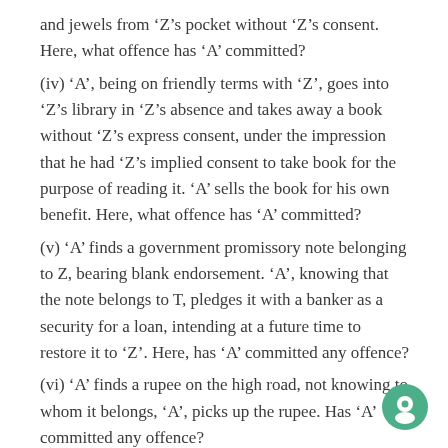and jewels from ‘Z’s pocket without ‘Z’s consent. Here, what offence has ‘A’ committed?
(iv) ‘A’, being on friendly terms with ‘Z’, goes into ‘Z’s library in ‘Z’s absence and takes away a book without ‘Z’s express consent, under the impression that he had ‘Z’s implied consent to take book for the purpose of reading it. ‘A’ sells the book for his own benefit. Here, what offence has ‘A’ committed?
(v) ‘A’ finds a government promissory note belonging to Z, bearing blank endorsement. ‘A’, knowing that the note belongs to T, pledges it with a banker as a security for a loan, intending at a future time to restore it to ‘Z’. Here, has ‘A’ committed any offence?
(vi) ‘A’ finds a rupee on the high road, not knowing to whom it belongs, ‘A’, picks up the rupee. Has ‘A’ committed any offence?